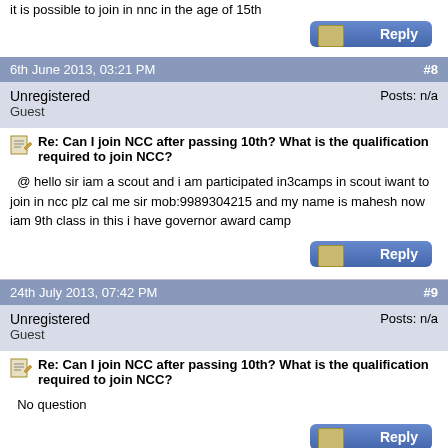it is possible to join in nnc in the age of 15th
6th June 2013, 03:21 PM   #8
Unregistered
Guest
Posts: n/a
Re: Can I join NCC after passing 10th? What is the qualification required to join NCC?
@ hello sir iam a scout and i am participated in3camps in scout iwant to join in ncc plz cal me sir mob:9989304215 and my name is mahesh now iam 9th class in this i have governor award camp
24th July 2013, 07:42 PM   #9
Unregistered
Guest
Posts: n/a
Re: Can I join NCC after passing 10th? What is the qualification required to join NCC?
No question
30th July 2013, 10:18 PM   #10